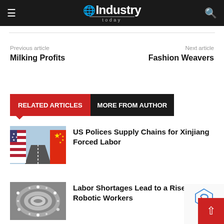Industry Today
Previous article
Milking Profits
Next article
Fashion Weavers
RELATED ARTICLES   MORE FROM AUTHOR
[Figure (photo): US and China flags on shipping containers along a road — illustrating US-China trade/supply chain conflict]
US Polices Supply Chains for Xinjiang Forced Labor
[Figure (photo): LED light strip coiled — illustrating robotic/manufacturing topic]
Labor Shortages Lead to a Rise in Robotic Workers